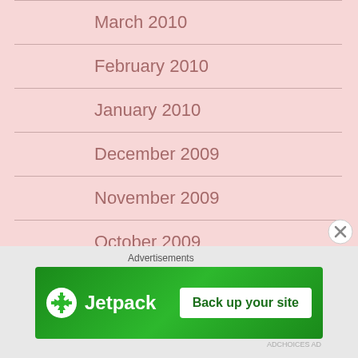March 2010
February 2010
January 2010
December 2009
November 2009
October 2009
September 2009
August 2009
July 2009
June 2009
Advertisements
[Figure (other): Jetpack advertisement banner with 'Back up your site' button on green background]